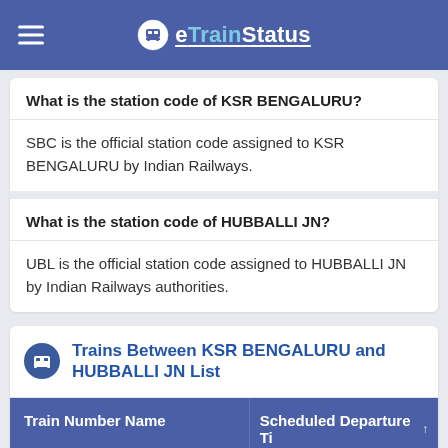eTrainStatus
What is the station code of KSR BENGALURU?
SBC is the official station code assigned to KSR BENGALURU by Indian Railways.
What is the station code of HUBBALLI JN?
UBL is the official station code assigned to HUBBALLI JN by Indian Railways authorities.
Trains Between KSR BENGALURU and HUBBALLI JN List
| Train Number Name | Scheduled Departure Ti |
| --- | --- |